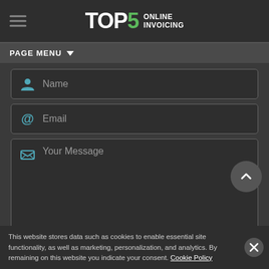TOP5 ONLINE INVOICING
PAGE MENU
[Figure (screenshot): Contact form with Name, Email, and Your Message fields on dark background]
This website stores data such as cookies to enable essential site functionality, as well as marketing, personalization, and analytics. By remaining on this website you indicate your consent. Cookie Policy